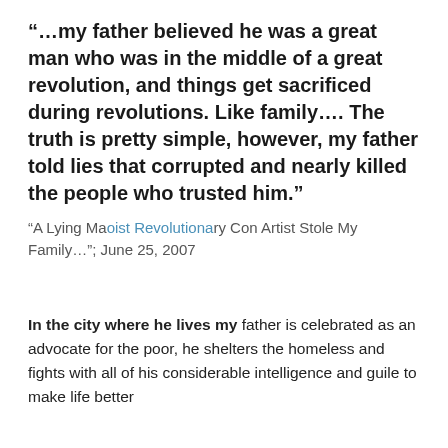“…my father believed he was a great man who was in the middle of a great revolution, and things get sacrificed during revolutions. Like family…. The truth is pretty simple, however, my father told lies that corrupted and nearly killed the people who trusted him.”
“A Lying Maoist Revolutionary Con Artist Stole My Family…”; June 25, 2007
In the city where he lives my father is celebrated as an advocate for the poor, he shelters the homeless and fights with all of his considerable intelligence and guile to make life better